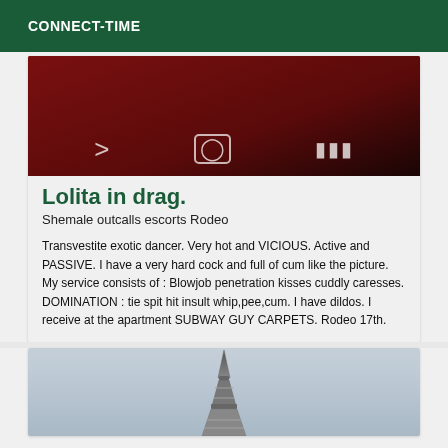CONNECT-TIME
[Figure (photo): Dark red background photo with video player controls overlay]
Lolita in drag.
Shemale outcalls escorts Rodeo
Transvestite exotic dancer. Very hot and VICIOUS. Active and PASSIVE. I have a very hard cock and full of cum like the picture. My service consists of : Blowjob penetration kisses cuddly caresses. DOMINATION : tie spit hit insult whip,pee,cum. I have dildos. I receive at the apartment SUBWAY GUY CARPETS. Rodeo 17th.
[Figure (photo): Eiffel Tower photo with cloudy sky background]